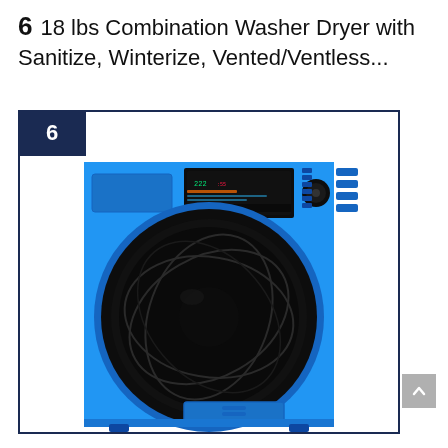6  18 lbs Combination Washer Dryer with Sanitize, Winterize, Vented/Ventless...
[Figure (photo): Blue combination washer dryer unit with black drum door, control panel with digital display, knobs and buttons, and a small drawer at the bottom. Brand appears to be Equator. Number badge '6' in dark navy square in top-left corner of product card.]